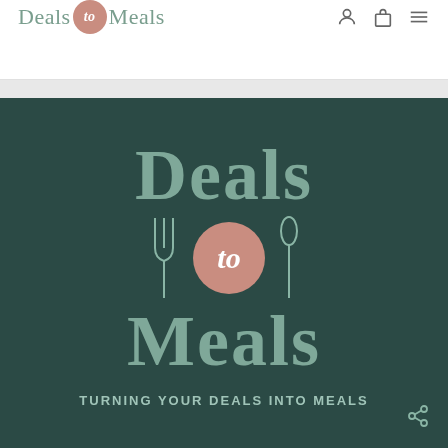Deals to Meals - navigation header with logo and icons
[Figure (logo): Deals to Meals brand logo on dark teal background featuring large serif text 'Deals' and 'Meals' in sage green with a salmon/pink circle containing italic 'to' in white, flanked by fork and spoon icons, and tagline 'TURNING YOUR DEALS INTO MEALS']